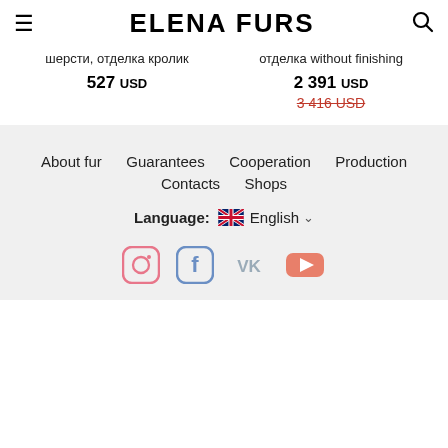ELENA FURS
шерсти, отделка кролик
527 USD
отделка without finishing
2 391 USD
3 416 USD (strikethrough)
About fur  Guarantees  Cooperation  Production  Contacts  Shops
Language: English
[Figure (infographic): Social media icons: Instagram, Facebook, VK, YouTube]